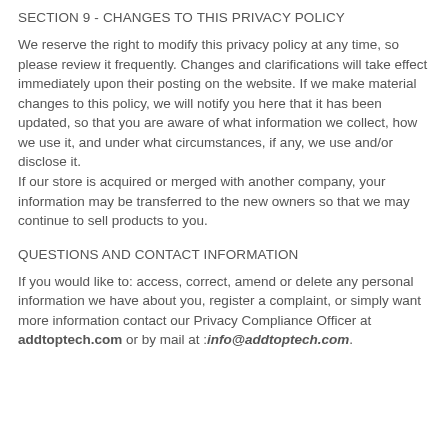SECTION 9 - CHANGES TO THIS PRIVACY POLICY
We reserve the right to modify this privacy policy at any time, so please review it frequently. Changes and clarifications will take effect immediately upon their posting on the website. If we make material changes to this policy, we will notify you here that it has been updated, so that you are aware of what information we collect, how we use it, and under what circumstances, if any, we use and/or disclose it.
If our store is acquired or merged with another company, your information may be transferred to the new owners so that we may continue to sell products to you.
QUESTIONS AND CONTACT INFORMATION
If you would like to: access, correct, amend or delete any personal information we have about you, register a complaint, or simply want more information contact our Privacy Compliance Officer at addtoptech.com or by mail at :info@addtoptech.com.